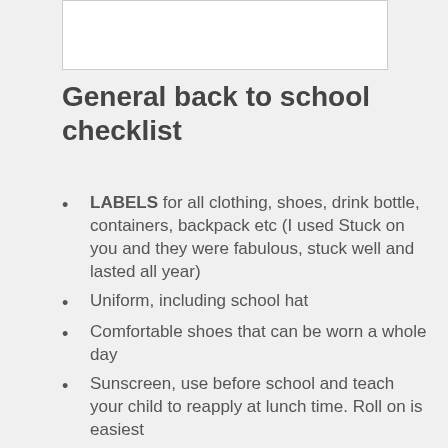[Figure (other): White rectangular image placeholder at the top of the page]
General back to school checklist
LABELS for all clothing, shoes, drink bottle, containers, backpack etc (I used Stuck on you and they were fabulous, stuck well and lasted all year)
Uniform, including school hat
Comfortable shoes that can be worn a whole day
Sunscreen, use before school and teach your child to reapply at lunch time. Roll on is easiest
Lunchbox that your child has practised opening